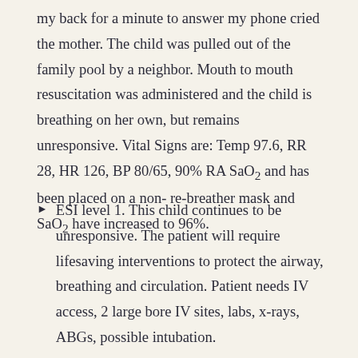my back for a minute to answer my phone cried the mother. The child was pulled out of the family pool by a neighbor. Mouth to mouth resuscitation was administered and the child is breathing on her own, but remains unresponsive. Vital Signs are: Temp 97.6, RR 28, HR 126, BP 80/65, 90% RA SaO2 and has been placed on a non- re-breather mask and SaO2 have increased to 96%.
ESI level 1. This child continues to be unresponsive. The patient will require lifesaving interventions to protect the airway, breathing and circulation. Patient needs IV access, 2 large bore IV sites, labs, x-rays, ABGs, possible intubation.